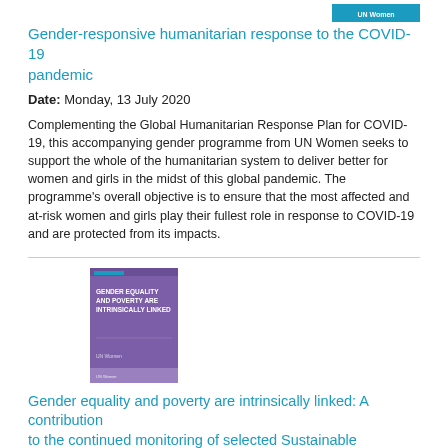[Figure (logo): UN Women logo banner in teal/blue]
Gender-responsive humanitarian response to the COVID-19 pandemic
Date: Monday, 13 July 2020
Complementing the Global Humanitarian Response Plan for COVID-19, this accompanying gender programme from UN Women seeks to support the whole of the humanitarian system to deliver better for women and girls in the midst of this global pandemic. The programme's overall objective is to ensure that the most affected and at-risk women and girls play their fullest role in response to COVID-19 and are protected from its impacts.
[Figure (photo): Book cover: Gender equality and poverty are intrinsically linked, purple cover with UN Women logo]
Gender equality and poverty are intrinsically linked: A contribution to the continued monitoring of selected Sustainable Development Goals